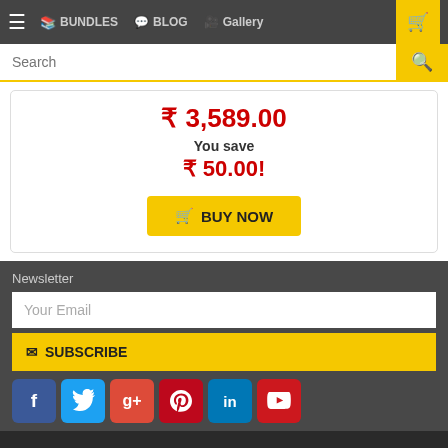≡ BUNDLES  BLOG  Gallery  [cart]
Search
₹ 3,589.00
You save
₹ 50.00!
BUY NOW
Newsletter
Your Email
SUBSCRIBE
[Figure (illustration): Social media icons: Facebook, Twitter, Google+, Pinterest, LinkedIn, YouTube]
ROBOMART.com
India's Biggest Online Do It Your Self Kit Store